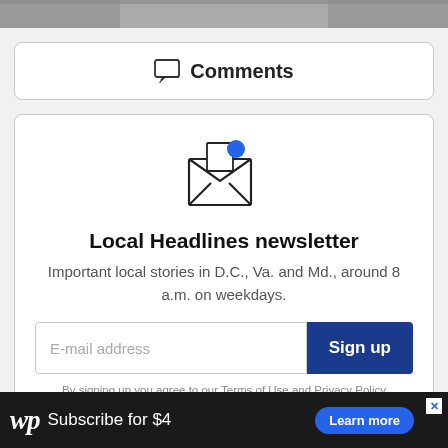[Figure (photo): Partially visible black and white photograph at the top of the page]
Comments
[Figure (illustration): Envelope icon with a blue notification dot, representing newsletter signup]
Local Headlines newsletter
Important local stories in D.C., Va. and Md., around 8 a.m. on weekdays.
E-mail address
Sign up
By signing up you agree to our Terms of Use and Privacy Policy
Subscribe for $4  Learn more